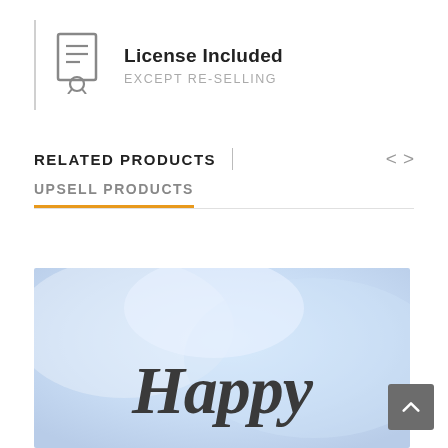[Figure (illustration): License icon - a certificate/document icon with a ribbon/medal at the bottom, drawn in gray outline style]
License Included
EXCEPT RE-SELLING
RELATED PRODUCTS
UPSELL PRODUCTS
[Figure (photo): Product thumbnail showing a blue/white watercolor background with cursive text reading 'Happy' visible at the bottom]